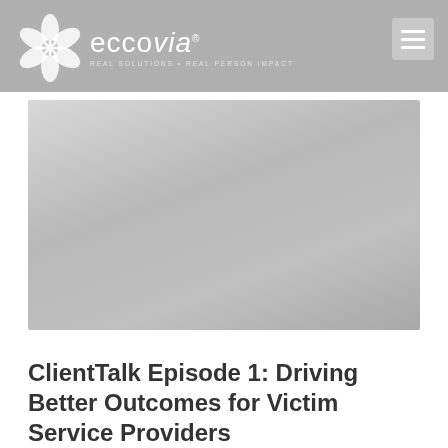eccovia — REAL SOLUTIONS • REAL PERSON IMPACT
[Figure (photo): Hero image placeholder with gradient gray background, likely a photograph related to the ClientTalk episode topic]
ClientTalk Episode 1: Driving Better Outcomes for Victim Service Providers